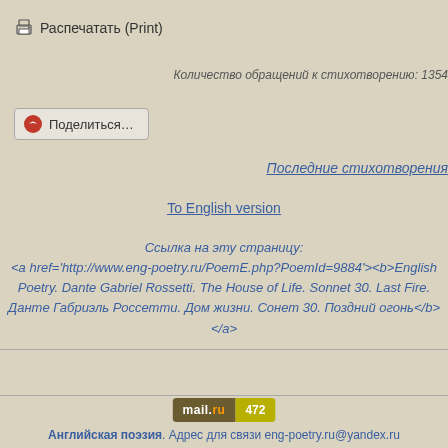🖨 Распечатать (Print)
Количество обращений к стихотворению: 1354
Поделиться…
Последние стихотворения
To English version
Ссылка на эту страницу:
<a href='http://www.eng-poetry.ru/PoemE.php?PoemId=9884'><b>English Poetry. Dante Gabriel Rossetti. The House of Life. Sonnet 30. Last Fire. Данте Габриэль Россетти. Дом жизни. Сонет 30. Поздний огонь</b></a>
mail.ru 472
Английская поэзия. Адрес для связи eng-poetry.ru@yandex.ru